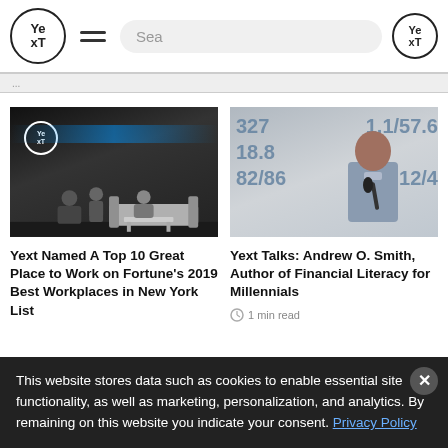Yext [logo] [hamburger] Sea [search] Yext [logo]
[Figure (screenshot): Yext website navigation header with logo, hamburger menu, search bar, and Yext logo button]
[Figure (photo): Dark office/lounge setting with Yext branding, people seated and standing, cyan accent light on wall]
[Figure (photo): Man speaking at a podium holding a microphone with financial statistics numbers visible on screen behind him: 327, 18.8, 1.1/57.6, 12/4, 82/86]
Yext Named A Top 10 Great Place to Work on Fortune's 2019 Best Workplaces in New York List
Yext Talks: Andrew O. Smith, Author of Financial Literacy for Millennials
1 min read
This website stores data such as cookies to enable essential site functionality, as well as marketing, personalization, and analytics. By remaining on this website you indicate your consent. Privacy Policy